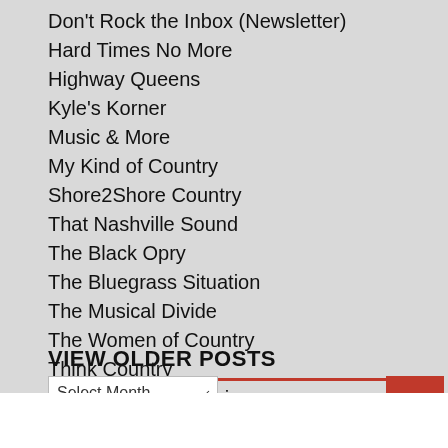Don't Rock the Inbox (Newsletter)
Hard Times No More
Highway Queens
Kyle's Korner
Music & More
My Kind of Country
Shore2Shore Country
That Nashville Sound
The Black Opry
The Bluegrass Situation
The Musical Divide
The Women of Country
Think Country
This is Country Music
VIEW OLDER POSTS